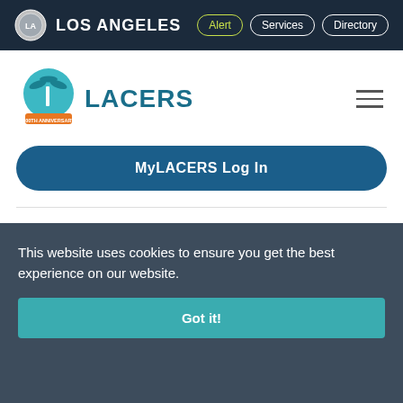LOS ANGELES   Alert   Services   Directory
[Figure (logo): LACERS logo with teal palm tree icon and orange ribbon banner, text 'LACERS']
MyLACERS Log In
B... fi...
This website uses cookies to ensure you get the best experience on our website.
Got it!